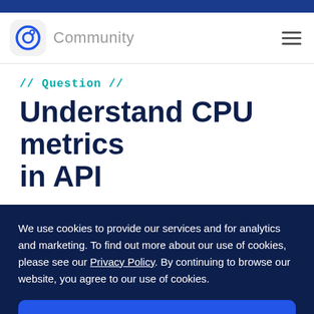Community
// Question //
Understand CPU metrics in API
We use cookies to provide our services and for analytics and marketing. To find out more about our use of cookies, please see our Privacy Policy. By continuing to browse our website, you agree to our use of cookies.
OK